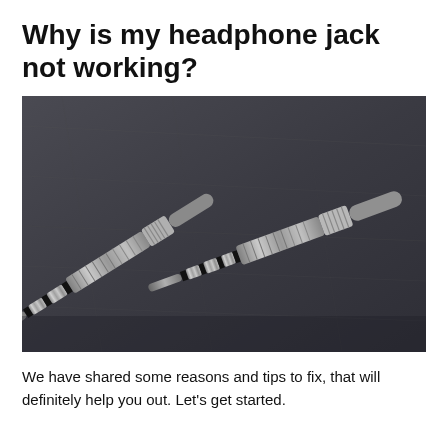Why is my headphone jack not working?
[Figure (photo): Two 3.5mm headphone jack plugs (TRS audio connectors) lying on a dark textured slate surface. Both plugs are silver/chrome colored with ribbed metal barrels and black insulating rings on the tips.]
We have shared some reasons and tips to fix, that will definitely help you out. Let’s get started.